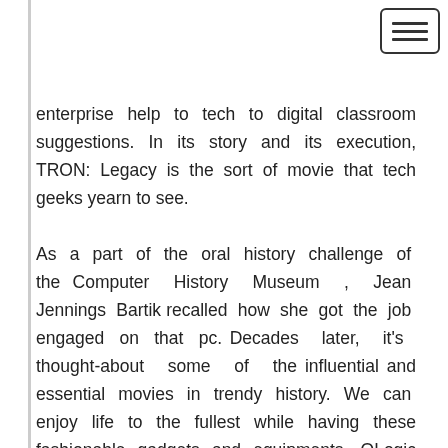enterprise help to tech to digital classroom suggestions. In its story and its execution, TRON: Legacy is the sort of movie that tech geeks yearn to see.
As a part of the oral history challenge of the Computer History Museum , Jean Jennings Bartik recalled how she got the job engaged on that pc. Decades later, it's thought-about some of the influential and essential movies in trendy history. We can enjoy life to the fullest while having these fashionable gadgets and equipments. QLogic supplies finish-to-end, built-in options that handle the broad networking spectrum. She was writing a new e-book to follow Dot, a kids's guide a few girl who integrates